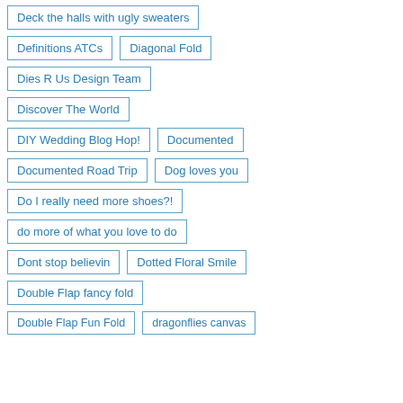Deck the halls with ugly sweaters
Definitions ATCs
Diagonal Fold
Dies R Us Design Team
Discover The World
DIY Wedding Blog Hop!
Documented
Documented Road Trip
Dog loves you
Do I really need more shoes?!
do more of what you love to do
Dont stop believin
Dotted Floral Smile
Double Flap fancy fold
Double Flap Fun Fold
dragonflies canvas